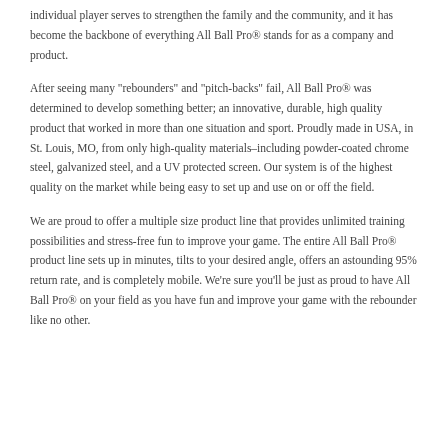individual player serves to strengthen the family and the community, and it has become the backbone of everything All Ball Pro® stands for as a company and product.
After seeing many "rebounders" and "pitch-backs" fail, All Ball Pro® was determined to develop something better; an innovative, durable, high quality product that worked in more than one situation and sport. Proudly made in USA, in St. Louis, MO, from only high-quality materials–including powder-coated chrome steel, galvanized steel, and a UV protected screen. Our system is of the highest quality on the market while being easy to set up and use on or off the field.
We are proud to offer a multiple size product line that provides unlimited training possibilities and stress-free fun to improve your game. The entire All Ball Pro® product line sets up in minutes, tilts to your desired angle, offers an astounding 95% return rate, and is completely mobile. We're sure you'll be just as proud to have All Ball Pro® on your field as you have fun and improve your game with the rebounder like no other.